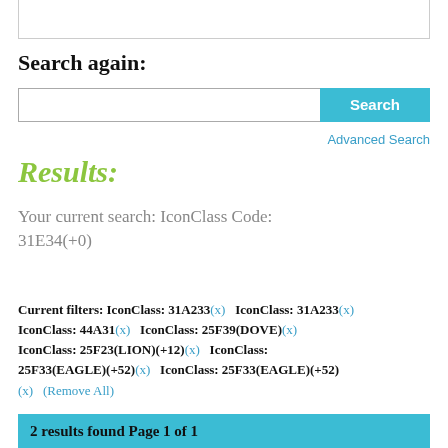Search again:
[Figure (screenshot): Search input box with Search button and Advanced Search link]
Results:
Your current search: IconClass Code: 31E34(+0)
Current filters: IconClass: 31A233(x)   IconClass: 31A233(x) IconClass: 44A31(x)   IconClass: 25F39(DOVE)(x) IconClass: 25F23(LION)(+12)(x)   IconClass: 25F33(EAGLE)(+52)(x)   IconClass: 25F33(EAGLE)(+52) (x)   (Remove All)
2 results found Page 1 of 1